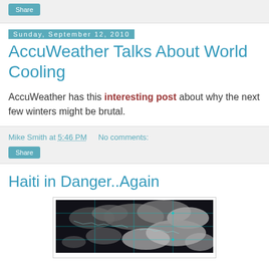Share
Sunday, September 12, 2010
AccuWeather Talks About World Cooling
AccuWeather has this interesting post about why the next few winters might be brutal.
Mike Smith at 5:46 PM   No comments:
Share
Haiti in Danger..Again
[Figure (photo): Satellite image showing cloud formations over the Caribbean/Haiti region with cyan grid lines overlay on a dark background]